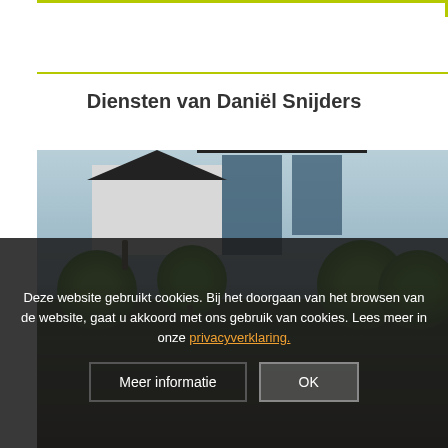Diensten van Daniël Snijders
[Figure (photo): Photo of a modern house exterior with round topiary bushes in front of large glass windows and dark roof]
Deze website gebruikt cookies. Bij het doorgaan van het browsen van de website, gaat u akkoord met ons gebruik van cookies. Lees meer in onze privacyverklaring.